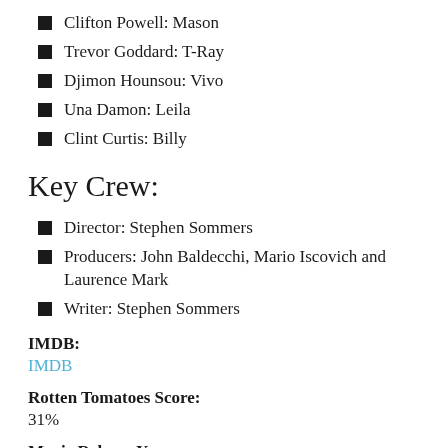Clifton Powell: Mason
Trevor Goddard: T-Ray
Djimon Hounsou: Vivo
Una Damon: Leila
Clint Curtis: Billy
Key Crew:
Director: Stephen Sommers
Producers: John Baldecchi, Mario Iscovich and Laurence Mark
Writer: Stephen Sommers
IMDB:
IMDB
Rotten Tomatoes Score:
31%
Movie Release Year: